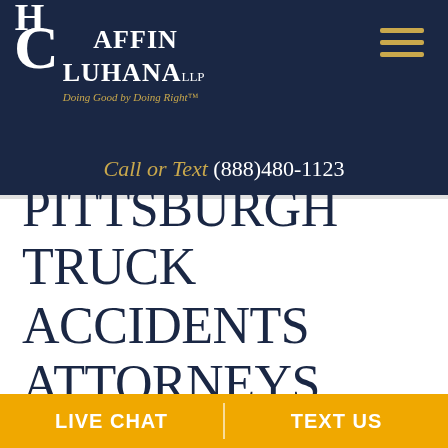[Figure (logo): Chaffin Luhana LLP law firm logo with tagline 'Doing Good by Doing Right' on dark navy background]
Call or Text (888)480-1123
PITTSBURGH TRUCK ACCIDENTS ATTORNEYS
LIVE CHAT
TEXT US